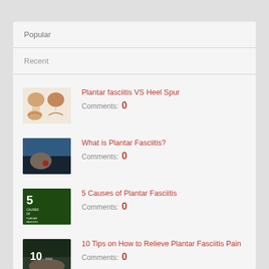Popular
Recent
[Figure (illustration): Thumbnail showing anatomical diagram of plantar fasciitis vs heel spur - two heel cross-section diagrams and a foot illustration]
Plantar fasciitis VS Heel Spur
Comments: 0
[Figure (photo): Thumbnail showing a close-up photo of a foot/heel outdoors]
What is Plantar Fasciitis?
Comments: 0
[Figure (photo): Thumbnail showing dark green background with text '5 causes of Plantar Fasciitis']
5 Causes of Plantar Fasciitis
Comments: 0
[Figure (photo): Thumbnail showing a foot with text '10 Pain']
10 Tips on How to Relieve Plantar Fasciitis Pain
Comments: 0